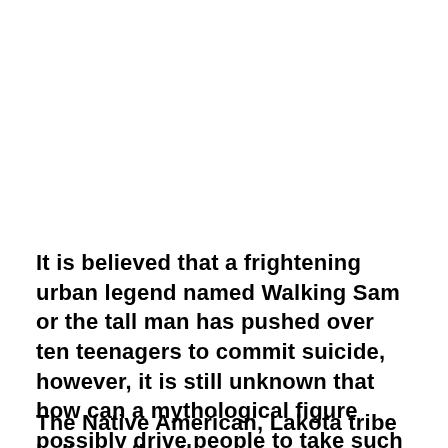It is believed that a frightening urban legend named Walking Sam or the tall man has pushed over ten teenagers to commit suicide, however, it is still unknown that how can a mythological figure possibly drive people to take such drastic steps.
The Native American, Lakota tribe believes that the "Walking Sam" or "Tall Man" to a mythological...